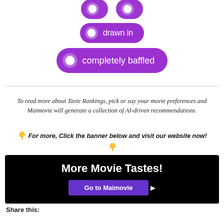[Figure (infographic): Two purple pill-shaped buttons: 'drawn in' and 'completely baffled', each with a circular icon on the left. A partial third pill is visible at the top.]
To read more about Taste Rankings, pick or say your movie preferences and Maimovie will generate a collection of AI-driven recommendations.
👇 For more, Click the banner below and visit our website now! 👇
[Figure (infographic): Black banner with white bold text 'More Movie Tastes!' and a purple button labeled 'Go to Maimovie' with a cursor icon.]
Share this: